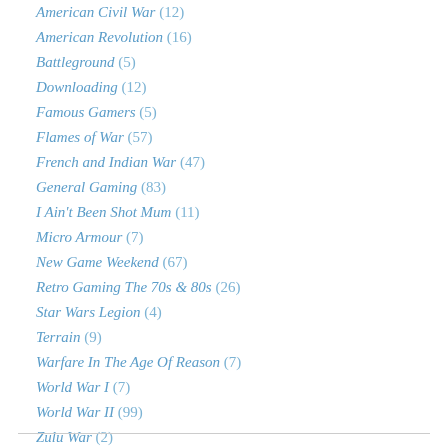American Civil War (12)
American Revolution (16)
Battleground (5)
Downloading (12)
Famous Gamers (5)
Flames of War (57)
French and Indian War (47)
General Gaming (83)
I Ain't Been Shot Mum (11)
Micro Armour (7)
New Game Weekend (67)
Retro Gaming The 70s & 80s (26)
Star Wars Legion (4)
Terrain (9)
Warfare In The Age Of Reason (7)
World War I (7)
World War II (99)
Zulu War (2)